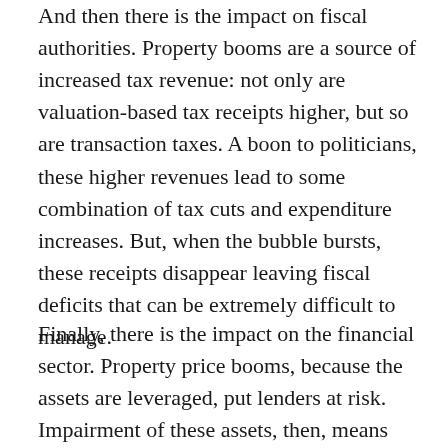And then there is the impact on fiscal authorities. Property booms are a source of increased tax revenue: not only are valuation-based tax receipts higher, but so are transaction taxes. A boon to politicians, these higher revenues lead to some combination of tax cuts and expenditure increases. But, when the bubble bursts, these receipts disappear leaving fiscal deficits that can be extremely difficult to manage.
Finally, there is the impact on the financial sector. Property price booms, because the assets are leveraged, put lenders at risk. Impairment of these assets, then, means impairment of financial intermediaries' balance sheets. Moreover, in recent years, both residential and commercial mortgages have been the raw inputs into various securitisation